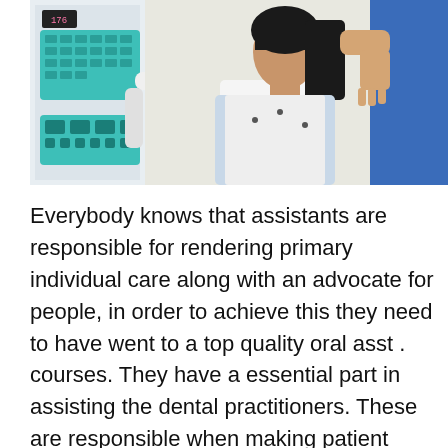[Figure (photo): A dental X-ray scene: a patient (young woman with dark hair) positioned in front of a dental X-ray machine with teal/turquoise control panels on the left. A dental assistant wearing a blue uniform is positioning the X-ray arm near the patient's jaw. The patient is wearing a white shirt with small dots and appears to have a protective drape.]
Everybody knows that assistants are responsible for rendering primary individual care along with an advocate for people, in order to achieve this they need to have went to a top quality oral asst . courses. They have a essential part in assisting the dental practitioners. These are responsible when making patient relaxed and minimizing their…